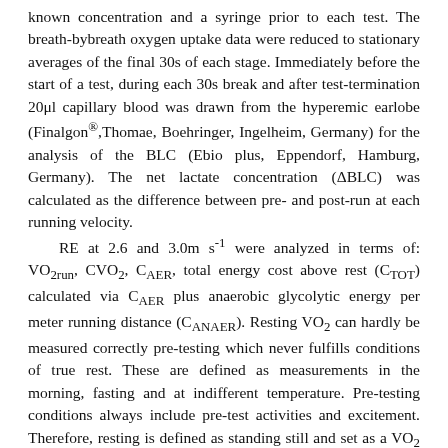known concentration and a syringe prior to each test. The breath-bybreath oxygen uptake data were reduced to stationary averages of the final 30s of each stage. Immediately before the start of a test, during each 30s break and after test-termination 20μl capillary blood was drawn from the hyperemic earlobe (Finalgon®,Thomae, Boehringer, Ingelheim, Germany) for the analysis of the BLC (Ebio plus, Eppendorf, Hamburg, Germany). The net lactate concentration (ΔBLC) was calculated as the difference between pre- and post-run at each running velocity.
RE at 2.6 and 3.0m s⁻¹ were analyzed in terms of: VO₂run, CVO₂, CAER, total energy cost above rest (CTOT) calculated via CAER plus anaerobic glycolytic energy per meter running distance (CANAER). Resting VO₂ can hardly be measured correctly pre-testing which never fulfills conditions of true rest. These are defined as measurements in the morning, fasting and at indifferent temperature. Pre-testing conditions always include pre-test activities and excitement. Therefore, resting is defined as standing still and set as a VO₂ of 4.5ml kg⁻¹ min⁻¹, which reflects standing still in males (4).